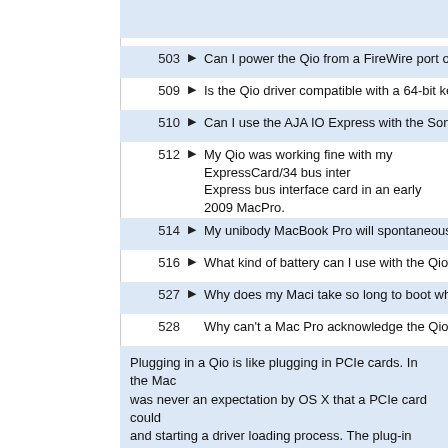503 ▶ Can I power the Qio from a FireWire port on a MacBook Pr...
509 ▶ Is the Qio driver compatible with a 64-bit kernel boot of OS...
510 ▶ Can I use the AJA IO Express with the Sonnet Qio in a Mac...
512 ▶ My Qio was working fine with my ExpressCard/34 bus inter... Express bus interface card in an early 2009 MacPro.
514 ▶ My unibody MacBook Pro will spontaneously restart after s...
516 ▶ What kind of battery can I use with the Qio?
527 ▶ Why does my Maci take so long to boot when the Qio is att...
528   Why can't a Mac Pro acknowledge the Qio if it is plugged in...
Plugging in a Qio is like plugging in PCIe cards. In the Mac... was never an expectation by OS X that a PCIe card could... and starting a driver loading process. The plug-in event is...
536 ▶ With a Qio connected, my Mac Pro kernel panics when I sh...
547 ▶ I'm getting a OS X kernel panic when I remove an SxS car... a video capture card installed.
563 ▶ I'm getting a long blue screen when I boot a Mac with Qio i...
566   I upgraded to 10.6.8 and my system no longer boots.